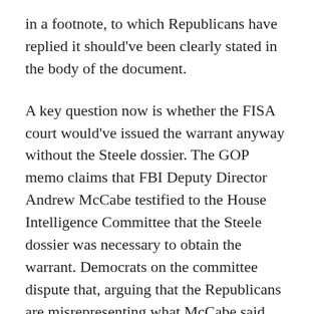in a footnote, to which Republicans have replied it should've been clearly stated in the body of the document.
A key question now is whether the FISA court would've issued the warrant anyway without the Steele dossier. The GOP memo claims that FBI Deputy Director Andrew McCabe testified to the House Intelligence Committee that the Steele dossier was necessary to obtain the warrant. Democrats on the committee dispute that, arguing that the Republicans are misrepresenting what McCabe said.